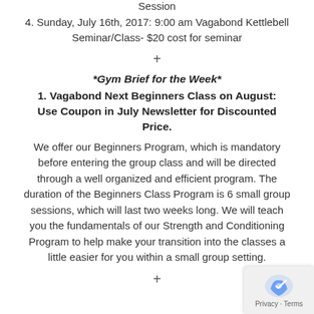Session
4. Sunday, July 16th, 2017: 9:00 am Vagabond Kettlebell Seminar/Class- $20 cost for seminar
+
*Gym Brief for the Week*
1. Vagabond Next Beginners Class on August: Use Coupon in July Newsletter for Discounted Price.
We offer our Beginners Program, which is mandatory before entering the group class and will be directed through a well organized and efficient program. The duration of the Beginners Class Program is 6 small group sessions, which will last two weeks long. We will teach you the fundamentals of our Strength and Conditioning Program to help make your transition into the classes a little easier for you within a small group setting.
+